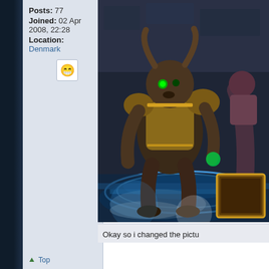Posts: 77
Joined: 02 Apr 2008, 22:28
Location: Denmark
[Figure (illustration): Smiley face emoji icon in a white bordered box]
[Figure (screenshot): World of Warcraft game screenshot showing a large armored bear/tauren character standing on a glowing blue platform with another character visible. A UI element with gold border is visible in the bottom right.]
Okay so i changed the pictu
Top